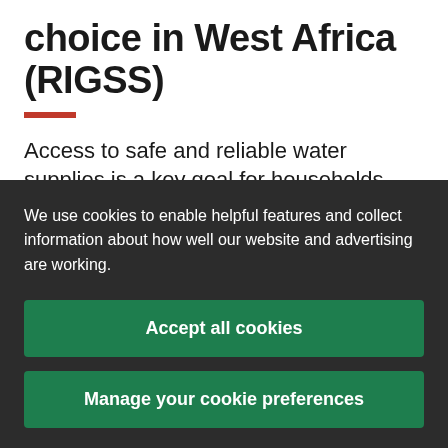choice in West Africa (RIGSS)
Access to safe and reliable water supplies is a key goal for households and governments across most of Africa
We use cookies to enable helpful features and collect information about how well our website and advertising are working.
Accept all cookies
Manage your cookie preferences